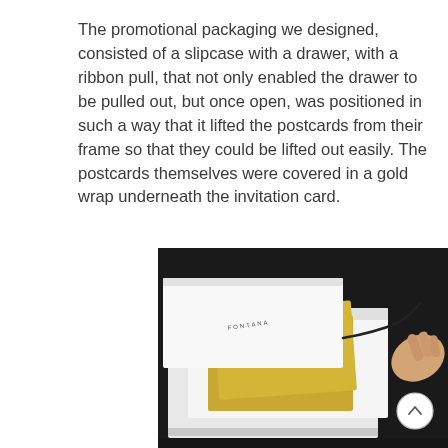The promotional packaging we designed, consisted of a slipcase with a drawer, with a ribbon pull, that not only enabled the drawer to be pulled out, but once open, was positioned in such a way that it lifted the postcards from their frame so that they could be lifted out easily. The postcards themselves were covered in a gold wrap underneath the invitation card.
[Figure (photo): A white slipcase box with a drawer pulled open, revealing gold-wrapped postcards being lifted by a black ribbon pull held by a hand, on a dark background. The box is branded with 'FONTANA'.]